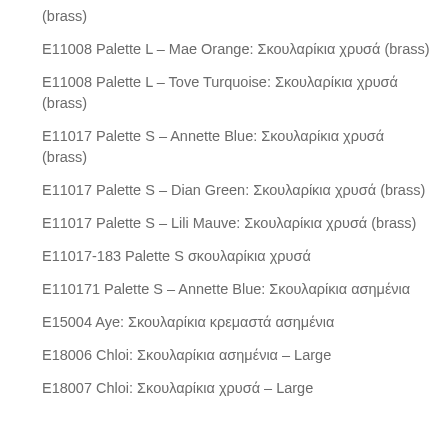(brass)
E11008 Palette L – Mae Orange: Σκουλαρίκια χρυσά (brass)
E11008 Palette L – Tove Turquoise: Σκουλαρίκια χρυσά (brass)
E11017 Palette S – Annette Blue: Σκουλαρίκια χρυσά (brass)
E11017 Palette S – Dian Green: Σκουλαρίκια χρυσά (brass)
E11017 Palette S – Lili Mauve: Σκουλαρίκια χρυσά (brass)
E11017-183 Palette S σκουλαρίκια χρυσά
E110171 Palette S – Annette Blue: Σκουλαρίκια ασημένια
E15004 Aye: Σκουλαρίκια κρεμαστά ασημένια
E18006 Chloi: Σκουλαρίκια ασημένια – Large
E18007 Chloi: Σκουλαρίκια χρυσά – Large